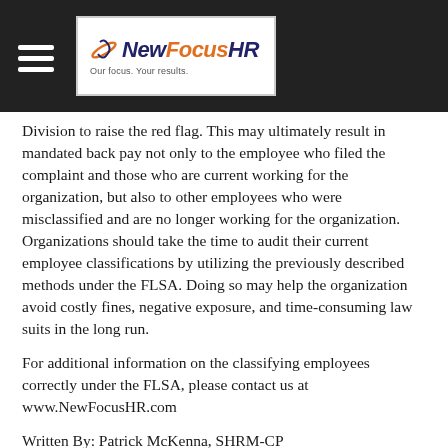NewFocusHR - Our focus. Your results.
Division to raise the red flag. This may ultimately result in mandated back pay not only to the employee who filed the complaint and those who are current working for the organization, but also to other employees who were misclassified and are no longer working for the organization. Organizations should take the time to audit their current employee classifications by utilizing the previously described methods under the FLSA. Doing so may help the organization avoid costly fines, negative exposure, and time-consuming law suits in the long run.
For additional information on the classifying employees correctly under the FLSA, please contact us at www.NewFocusHR.com
Written By: Patrick McKenna, SHRM-CP